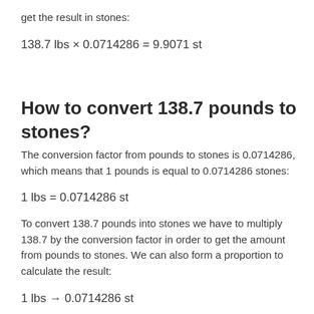get the result in stones:
How to convert 138.7 pounds to stones?
The conversion factor from pounds to stones is 0.0714286, which means that 1 pounds is equal to 0.0714286 stones:
To convert 138.7 pounds into stones we have to multiply 138.7 by the conversion factor in order to get the amount from pounds to stones. We can also form a proportion to calculate the result: